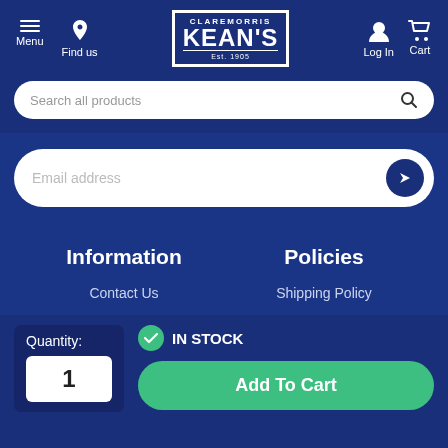[Figure (logo): Claremorris Kean's Est. 1905 logo in white on navy blue bordered box]
Menu
Find us
Log In
Cart
Search all products
Email address
Information
Policies
Contact Us
Shipping Policy
Quantity:
1
IN STOCK
Add To Cart